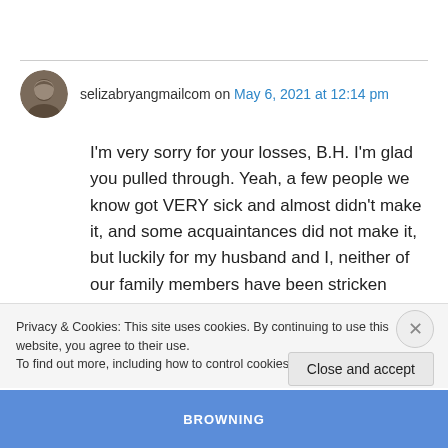selizabryangmailcom on May 6, 2021 at 12:14 pm
I'm very sorry for your losses, B.H. I'm glad you pulled through. Yeah, a few people we know got VERY sick and almost didn't make it, and some acquaintances did not make it, but luckily for my husband and I, neither of our family members have been stricken badly.

We had a strange “cold/flu” back over the
Privacy & Cookies: This site uses cookies. By continuing to use this website, you agree to their use.
To find out more, including how to control cookies, see here: Cookie Policy
Close and accept